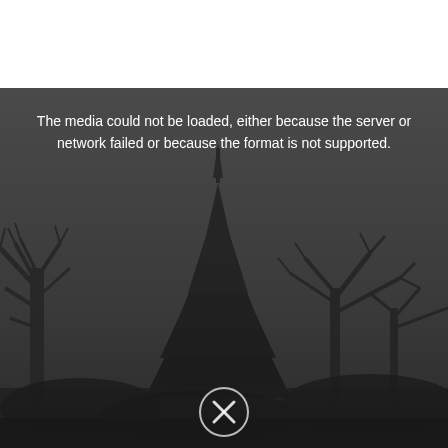[Figure (photo): A dark, moody photograph of bare tree silhouettes against a dark grey sky. In the center stands a tall conifer/pine tree surrounded by leafless deciduous trees. The image is very dark with low contrast. Overlaid on the top portion is a white error message: 'The media could not be loaded, either because the server or network failed or because the format is not supported.' At the bottom center there is a partially visible circular play button icon with an X or arrow symbol.]